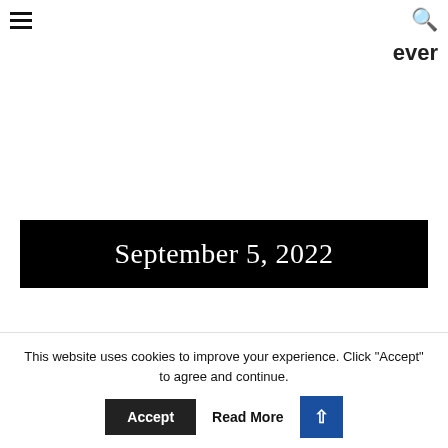☰  🔍
ever
September 5, 2022
This website uses cookies to improve your experience. Click "Accept" to agree and continue.  Accept  Read More